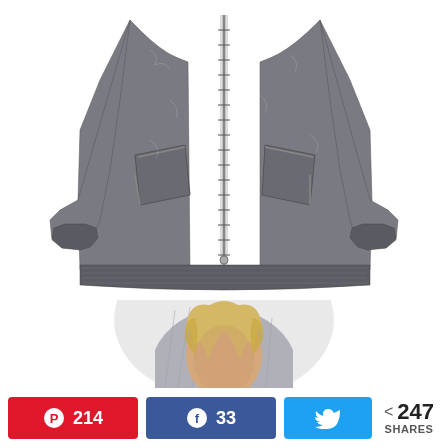[Figure (photo): Gray burnout/acid-wash women's zip-up hoodie jacket with front zipper, kangaroo-style pockets with zipper detail, ribbed cuffs and hem, long sleeves — product shot on white background]
[Figure (photo): Blonde woman wearing a gray hooded sweatshirt/hoodie with hood up, cropped view showing head and upper torso]
214
33
< 247 SHARES